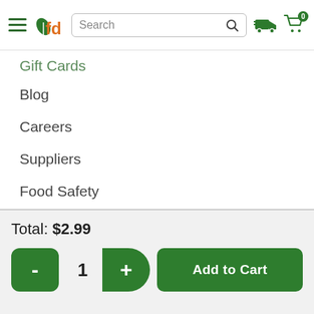fd [logo] Search [search icon] [delivery truck icon] [cart icon] 0
Gift Cards
Blog
Careers
Suppliers
Food Safety
Privacy Policy
Customer Agreement
Terms of Use
Total: $2.99
- 1 + Add to Cart